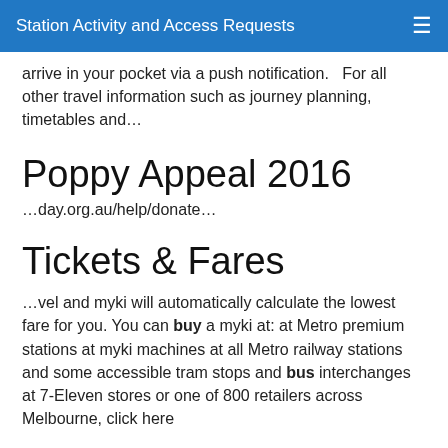Station Activity and Access Requests
arrive in your pocket via a push notification.   For all other travel information such as journey planning, timetables and…
Poppy Appeal 2016
…day.org.au/help/donate…
Tickets & Fares
…vel and myki will automatically calculate the lowest fare for you. You can buy a myki at: at Metro premium stations at myki machines at all Metro railway stations and some accessible tram stops and bus interchanges at 7-Eleven stores or one of 800 retailers across Melbourne, click here